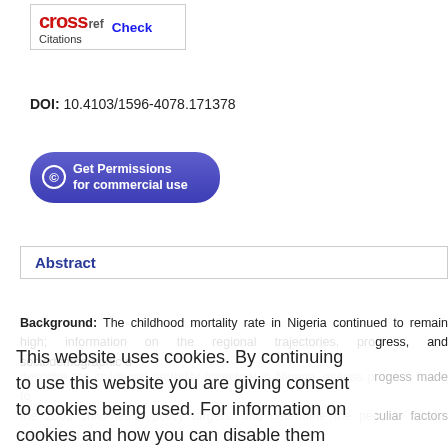[Figure (logo): CrossRef Citations logo with Check link]
DOI: 10.4103/1596-4078.171378
[Figure (other): Get Permissions for commercial use button]
Abstract
Background: The childhood mortality rate in Nigeria continued to remain high; information on the regional trajectories, progress, and sociodemographic determinants of childhood mortality in Nigeria are not readily available. The objectives of this study were to describe the childhood mortality trajectory in Nigeria, assess progress made to achieve the 2005 child-health policy targets, and determine the peculiar factors associated with childhood mortality in Nigeria regions. Materials and Methods: Birth history data from the demographic and health surveys, 1990, 2003, 2008, and 2013 were analyzed for this study. Locally weighted scatterplot smoothing technique was employed to ascertain the childhood mortality trajectory. Multilevel models were fitted to determine the influence of unmeasured variables and factors within each region. Results: Childhood mortality stagnated at about 201/1000 live births until the year 2000, after which there was a linear decline to 137/1000 live births at an annual rate of 4.91% (confidence interval: 4.52–5.29). The rate of decline was lowest in South West (2.97%) and highest in North Central (7.40%). Multivariate analysis showed that unmeasured community factors played significant roles in North East and North West. Birth interval < 24 months, multiple births, and young maternal age were risk fa
This website uses cookies. By continuing to use this website you are giving consent to cookies being used. For information on cookies and how you can disable them visit our Privacy and Cookie Policy.
AGREE & PROCEED